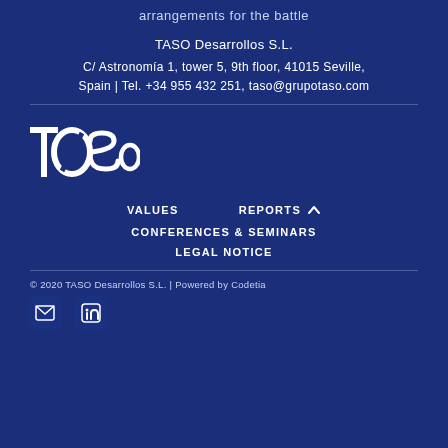arrangements for the battle
TASO Desarrollos S.L.
C/ Astronomía 1, tower 5, 9th floor, 41015 Seville, Spain | Tel. +34 955 432 251, taso@grupotaso.com
[Figure (logo): TOSO company logo in white on dark blue background]
VALUES
REPORTS
CONFERENCES & SEMINARS
LEGAL NOTICE
© 2020 TASO Desarrollos S.L. | Powered by Codetia